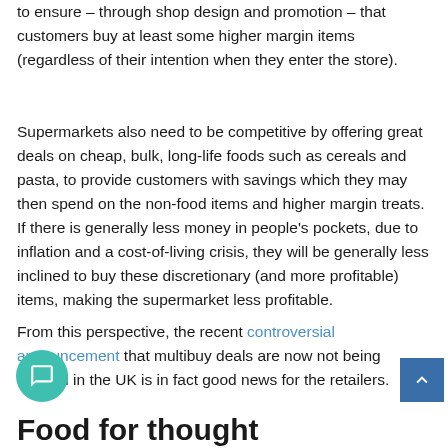to ensure – through shop design and promotion – that customers buy at least some higher margin items (regardless of their intention when they enter the store).
Supermarkets also need to be competitive by offering great deals on cheap, bulk, long-life foods such as cereals and pasta, to provide customers with savings which they may then spend on the non-food items and higher margin treats. If there is generally less money in people's pockets, due to inflation and a cost-of-living crisis, they will be generally less inclined to buy these discretionary (and more profitable) items, making the supermarket less profitable.
From this perspective, the recent controversial announcement that multibuy deals are now not being banned in the UK is in fact good news for the retailers.
Food for thought